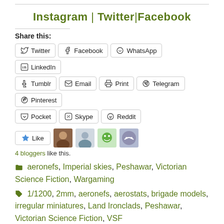Instagram | Twitter | Facebook
Share this:
Twitter  Facebook  WhatsApp  LinkedIn  Tumblr  Email  Print  Telegram  Pinterest  Pocket  Skype  Reddit
Like  4 bloggers like this.
aeronefs, Imperial skies, Peshawar, Victorian Science Fiction, Wargaming
1/1200, 2mm, aeronefs, aerostats, brigade models, irregular miniatures, Land Ironclads, Peshawar, Victorian Science Fiction, VSF